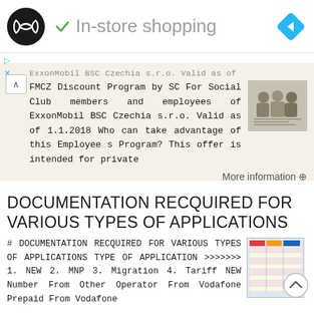[Figure (logo): Black circular logo with infinity-like double arrow symbol, followed by checkmark and 'In-store shopping' text in grey, and a blue diamond navigation icon on the right]
ExxonMobil BSC Czechia s.r.o. Valid as of
FMCZ Discount Program by SC For Social Club members and employees of ExxonMobil BSC Czechia s.r.o. Valid as of 1.1.2018 Who can take advantage of this Employee s Program? This offer is intended for private
More information →
DOCUMENTATION RECQUIRED FOR VARIOUS TYPES OF APPLICATIONS
# DOCUMENTATION RECQUIRED FOR VARIOUS TYPES OF APPLICATIONS TYPE OF APPLICATION >>>>>>> 1. NEW 2. MNP 3. Migration 4. Tariff NEW Number From Other Operator From Vodafone Prepaid From Vodafone